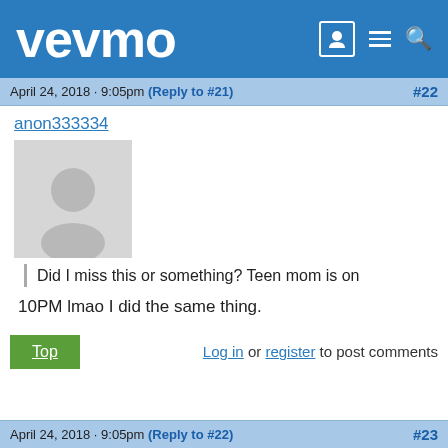vevmo
April 24, 2018 · 9:05pm (Reply to #21) #22
anon333334
[Figure (illustration): Default user avatar placeholder — grey silhouette of a person on light grey background]
Did I miss this or something? Teen mom is on
10PM lmao I did the same thing.
Top  Log in or register to post comments
April 24, 2018 · 9:05pm (Reply to #22) #23